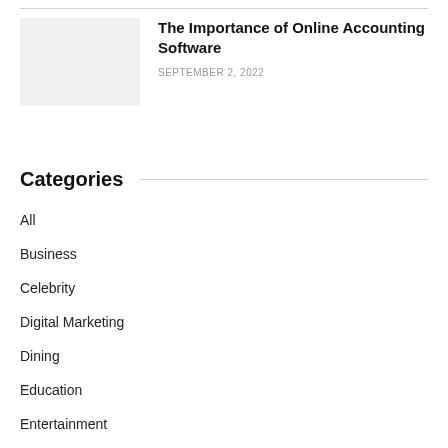The Importance of Online Accounting Software
SEPTEMBER 2, 2022
Categories
All
Business
Celebrity
Digital Marketing
Dining
Education
Entertainment
Fashion